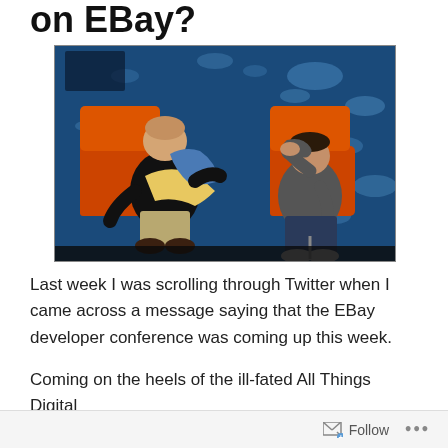on EBay?
[Figure (photo): Two men seated in orange chairs on a conference stage with a blue background. The man on the left is older, leaning forward holding what appears to be a jacket. The man on the right, younger, has his hand raised to his forehead in a gesture suggesting embarrassment or despair.]
Last week I was scrolling through Twitter when I came across a message saying that the EBay developer conference was coming up this week.
Coming on the heels of the ill-fated All Things Digital
Follow ...